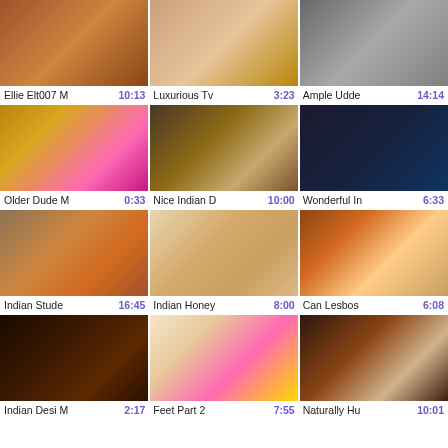[Figure (screenshot): Video thumbnail grid - Row 1 thumbnails (3 videos)]
Ellie Elt007 M  10:13   Luxurious Tv  3:23   Ample Udde  14:14
[Figure (screenshot): Video thumbnail grid - Row 2 thumbnails (3 videos)]
Older Dude M  0:33   Nice Indian D  10:00   Wonderful In  6:33
[Figure (screenshot): Video thumbnail grid - Row 3 thumbnails (3 videos)]
Indian Stude  16:45   Indian Honey  8:00   Can Lesbos  6:08
[Figure (screenshot): Video thumbnail grid - Row 4 thumbnails (3 videos)]
Indian Desi M  2:17   Feet Part 2  7:55   Naturally Hu  10:01